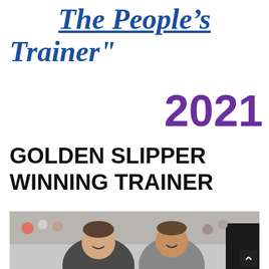The People's Trainer"
2021
GOLDEN SLIPPER WINNING TRAINER
[Figure (photo): Two men smiling and embracing at a horse racing event, with a crowd and camera equipment visible in the background.]